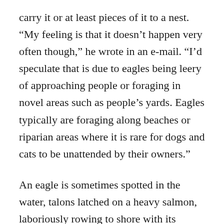carry it or at least pieces of it to a nest. “My feeling is that it doesn’t happen very often though,” he wrote in an e-mail. “I’d speculate that is due to eagles being leery of approaching people or foraging in novel areas such as people’s yards. Eagles typically are foraging along beaches or riparian areas where it is rare for dogs and cats to be unattended by their owners.”
An eagle is sometimes spotted in the water, talons latched on a heavy salmon, laboriously rowing to shore with its wings. It’s a clumsy swimming style, but it works. It’s said that the eagle can’t let go, that the